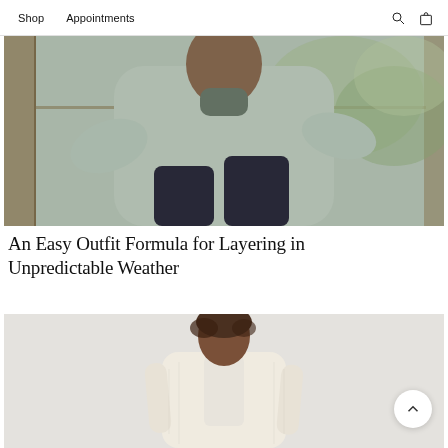Shop  Appointments
[Figure (photo): A person wearing a light grey/mint oversized knit sweater and dark wide-leg trousers, seated casually near large wooden-framed windows with green foliage visible outside.]
An Easy Outfit Formula for Layering in Unpredictable Weather
[Figure (photo): A woman with short natural hair wearing a cream/ivory tweed cropped jacket over a light top, standing against a light grey background.]